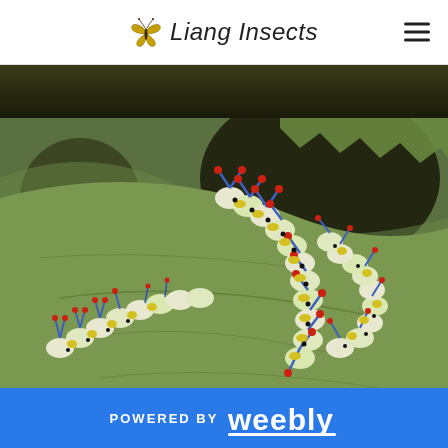Liang Insects
[Figure (photo): Dark/shadowed top photo strip, partial view of a nature scene]
[Figure (photo): Close-up photograph of multiple colorful caterpillars with red, blue, yellow, and white markings on a green leaf]
[Figure (photo): Bottom partial photo strip showing a reddish-brown branch/stem]
POWERED BY weebly